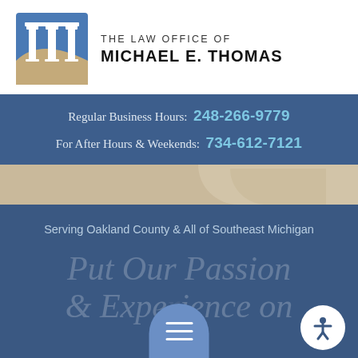[Figure (logo): Law office logo: blue and tan/gold square with white classical column/pillar icons]
THE LAW OFFICE OF MICHAEL E. THOMAS
Regular Business Hours:  248-266-9779
For After Hours & Weekends:  734-612-7121
Serving Oakland County & All of Southeast Michigan
Put Our Passion & Experience on